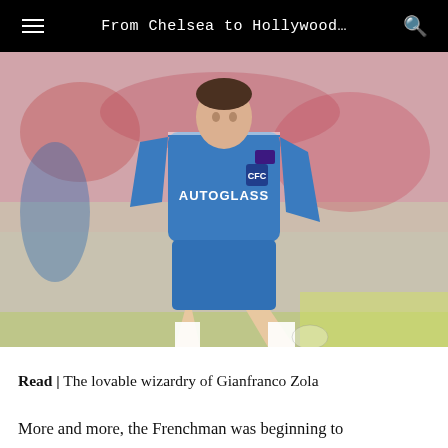From Chelsea to Hollywood…
[Figure (photo): A footballer in a blue Chelsea Autoglass kit mid-kick on a football pitch, crowd blurred in background]
Read | The lovable wizardry of Gianfranco Zola
More and more, the Frenchman was beginning to embody his team's own distinct identity. Increasingly,